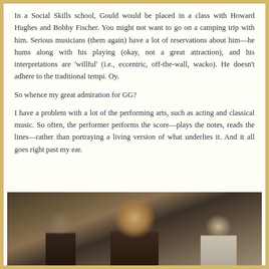In a Social Skills school, Gould would be placed in a class with Howard Hughes and Bobby Fischer. You might not want to go on a camping trip with him. Serious musicians (them again) have a lot of reservations about him—he hums along with his playing (okay, not a great attraction), and his interpretations are 'willful' (i.e., eccentric, off-the-wall, wacko). He doesn't adhere to the traditional tempi. Oy.
So whence my great admiration for GG?
I have a problem with a lot of the performing arts, such as acting and classical music. So often, the performer performs the score—plays the notes, reads the lines—rather than portraying a living version of what underlies it. And it all goes right past my ear.
[Figure (photo): A photograph showing a curly-haired person in the center foreground with other people visible in the background, appearing to be at some kind of performance or gathering.]